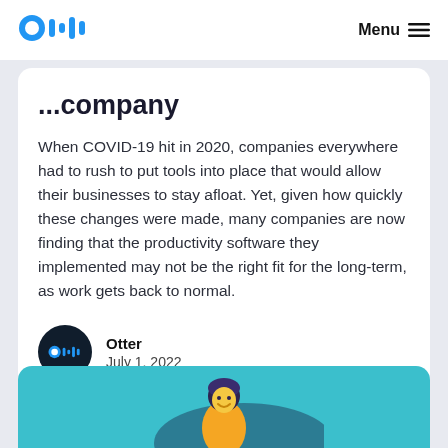[Figure (logo): Otter.ai logo in blue with stylized O and sound wave marks]
Menu ≡
...company
When COVID-19 hit in 2020, companies everywhere had to rush to put tools into place that would allow their businesses to stay afloat. Yet, given how quickly these changes were made, many companies are now finding that the productivity software they implemented may not be the right fit for the long-term, as work gets back to normal.
Otter
July 1, 2022
[Figure (illustration): Teal card with illustrated person figure partially visible at bottom of page]